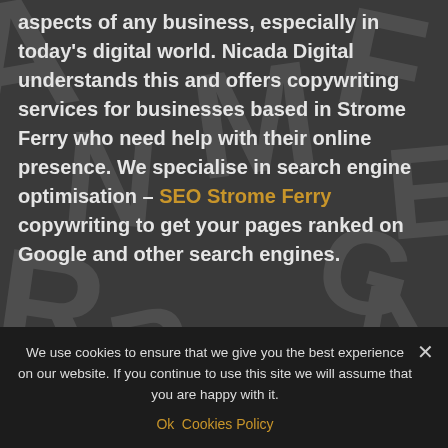aspects of any business, especially in today's digital world. Nicada Digital understands this and offers copywriting services for businesses based in Strome Ferry who need help with their online presence. We specialise in search engine optimisation – SEO Strome Ferry copywriting to get your pages ranked on Google and other search engines.
**The fact you are reading this shows we are the BEST at what we do!**
If you are looking for a reliable copywriter Strome Ferry that can offer
We use cookies to ensure that we give you the best experience on our website. If you continue to use this site we will assume that you are happy with it. Ok  Cookies Policy